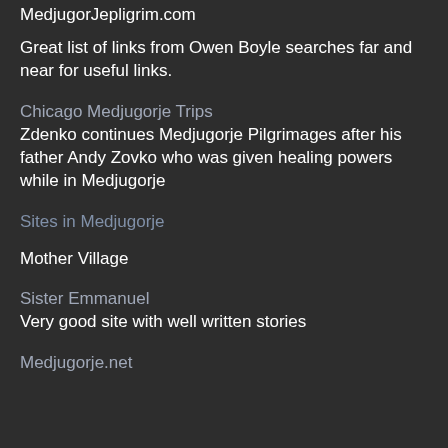MedjugorJepligrim.com
Great list of links from Owen Boyle searches far and near for useful links.
Chicago Medjugorje Trips
Zdenko continues Medjugorje Pilgrimages after his father Andy Zovko who was given healing powers while in Medjugorje
Sites in Medjugorje
Mother Village
Sister Emmanuel
Very good site with well written stories
Medjugorje.net